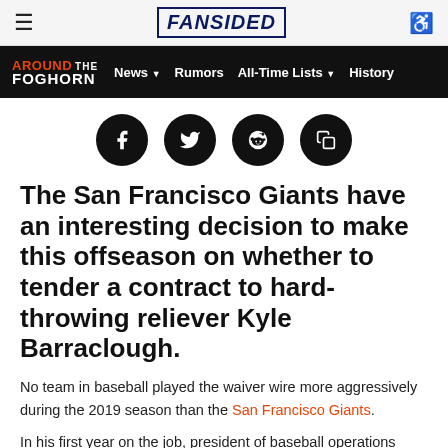FANSIDED
AROUND THE FOGHORN — News ▾  Rumors  All-Time Lists ▾  History
[Figure (illustration): Four social sharing icon buttons: Facebook, Twitter, Reddit, and copy/share — black circles with white icons]
The San Francisco Giants have an interesting decision to make this offseason on whether to tender a contract to hard-throwing reliever Kyle Barraclough.
No team in baseball played the waiver wire more aggressively during the 2019 season than the San Francisco Giants.
In his first year on the job, president of baseball operations Farhan Zaidi worked hard to find incremental ways to improve the roster. Along the way, he found good value in cast-offs and under